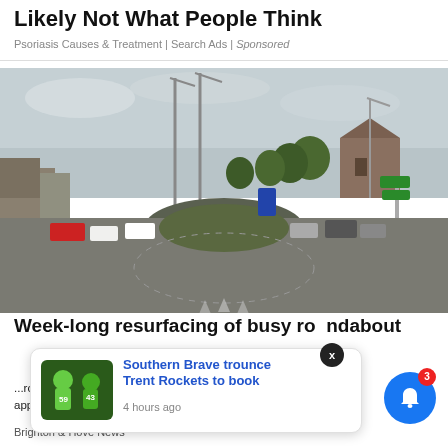Likely Not What People Think
Psoriasis Causes & Treatment | Search Ads | Sponsored
[Figure (photo): Street-level view of a busy UK roundabout with lamp posts, traffic, surrounding buildings and trees under an overcast sky.]
Week-long resurfacing of busy roundabout
...roundabout and approach roads tomorrow (Sunday 21 August), with the
Southern Brave trounce Trent Rockets to book
4 hours ago
Brighton & Hove News